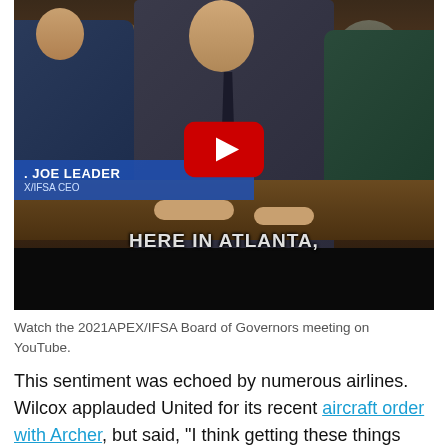[Figure (screenshot): YouTube video thumbnail showing a board meeting scene. Three people seated at a table in a conference room with dark wood paneling. Center person is a man in a dark suit with a tie. Lower-left name bar reads 'JOE LEADER' and 'X/IFSA CEO'. Caption overlay reads 'HERE IN ATLANTA,'. YouTube play button overlay in center. Black bar at bottom.]
Watch the 2021APEX/IFSA Board of Governors meeting on YouTube.
This sentiment was echoed by numerous airlines. Wilcox applauded United for its recent aircraft order with Archer, but said, “I think getting these things certified is going to be a lot harder than most people think. And so, with